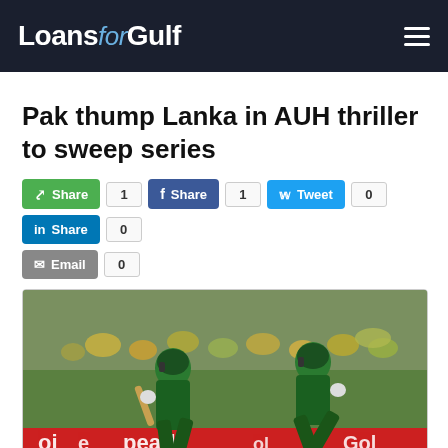Loans for Gulf
Pak thump Lanka in AUH thriller to sweep series
Share 1 | Share 1 | Tweet 0 | Share 0 | Email 0
[Figure (photo): Two Pakistan cricket players in green uniforms running between the wickets during a match, with spectators in the background and a sponsor board reading 'pearl' visible at boundary.]